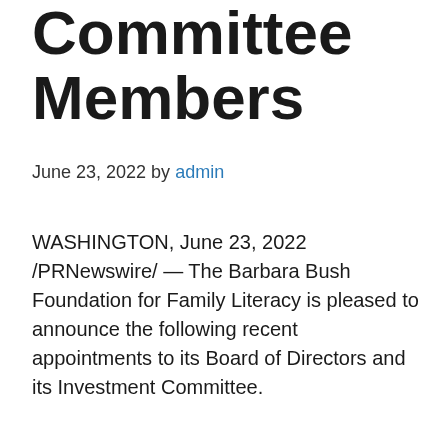Committee Members
June 23, 2022 by admin
WASHINGTON, June 23, 2022 /PRNewswire/ — The Barbara Bush Foundation for Family Literacy is pleased to announce the following recent appointments to its Board of Directors and its Investment Committee.